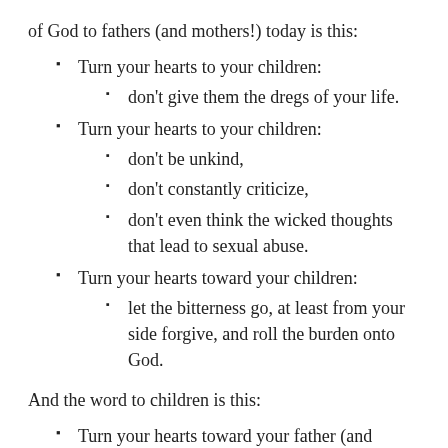of God to fathers (and mothers!) today is this:
Turn your hearts to your children:
don't give them the dregs of your life.
Turn your hearts to your children:
don't be unkind,
don't constantly criticize,
don't even think the wicked thoughts that lead to sexual abuse.
Turn your hearts toward your children:
let the bitterness go, at least from your side forgive, and roll the burden onto God.
And the word to children is this:
Turn your hearts toward your father (and